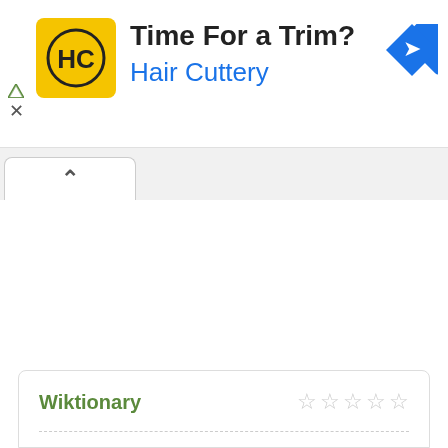[Figure (screenshot): Hair Cuttery advertisement banner with yellow logo showing HC initials, text 'Time For a Trim?' and 'Hair Cuttery' in blue, and a blue navigation arrow icon on the right. Small ad controls (triangle and X) on the left.]
[Figure (screenshot): Browser tab strip showing active tab with up-chevron (^) icon on white background, with gray tab bar behind it.]
Wiktionary
☆☆☆☆☆